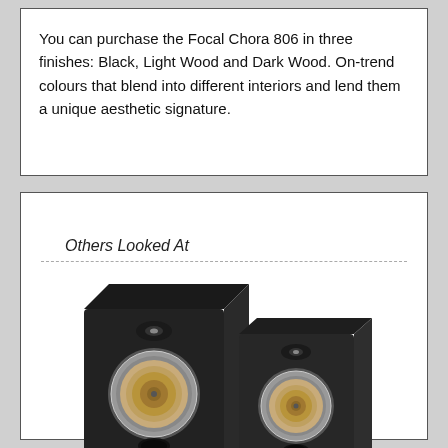You can purchase the Focal Chora 806 in three finishes: Black, Light Wood and Dark Wood. On-trend colours that blend into different interiors and lend them a unique aesthetic signature.
Others Looked At
[Figure (photo): Two black Focal Aria 906 bookshelf speakers shown side by side at a slight angle, with silver/beige woofer cones and black tweeter housings, glossy black cabinet finish.]
Focal Aria 906 Bookshelf Speakers